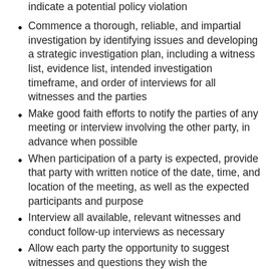indicate a potential policy violation
Commence a thorough, reliable, and impartial investigation by identifying issues and developing a strategic investigation plan, including a witness list, evidence list, intended investigation timeframe, and order of interviews for all witnesses and the parties
Make good faith efforts to notify the parties of any meeting or interview involving the other party, in advance when possible
When participation of a party is expected, provide that party with written notice of the date, time, and location of the meeting, as well as the expected participants and purpose
Interview all available, relevant witnesses and conduct follow-up interviews as necessary
Allow each party the opportunity to suggest witnesses and questions they wish the Investigator(s) to ask of the other party and